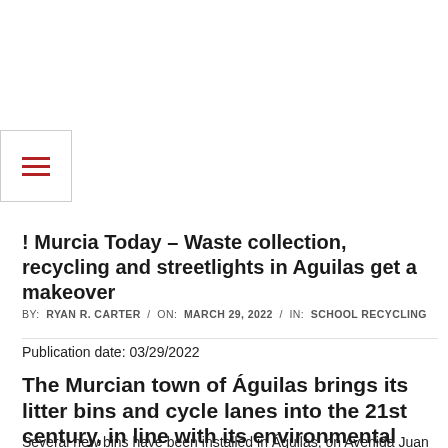≡ (menu button)
! Murcia Today – Waste collection, recycling and streetlights in Aguilas get a makeover
BY: RYAN R. CARTER / ON: MARCH 29, 2022 / IN: SCHOOL RECYCLING
Publication date: 03/29/2022
The Murcian town of Águilas brings its litter bins and cycle lanes into the 21st century, in line with its environmental objectives
Several new bins have been installed in Águilas, on Avenida Juan Carlos I, designed to revolutionize the city's waste management and